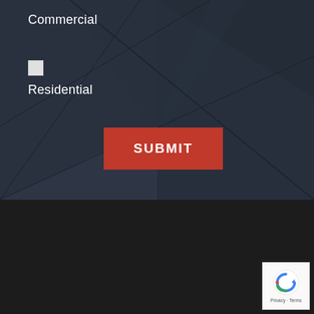Commercial
[Figure (other): Unchecked checkbox input element]
Residential
[Figure (other): Red SUBMIT button]
Get In Touch!
602-319-1326
602-522-2014
[Figure (other): Google reCAPTCHA badge with Privacy and Terms links]